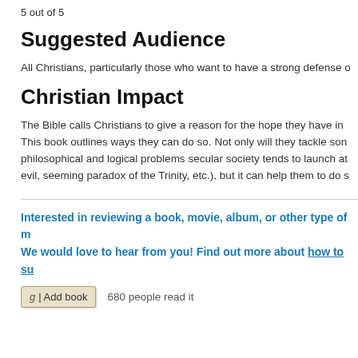5 out of 5
Suggested Audience
All Christians, particularly those who want to have a strong defense o
Christian Impact
The Bible calls Christians to give a reason for the hope they have in This book outlines ways they can do so. Not only will they tackle son philosophical and logical problems secular society tends to launch at evil, seeming paradox of the Trinity, etc.), but it can help them to do s
Interested in reviewing a book, movie, album, or other type of m We would love to hear from you! Find out more about how to su
680 people read it